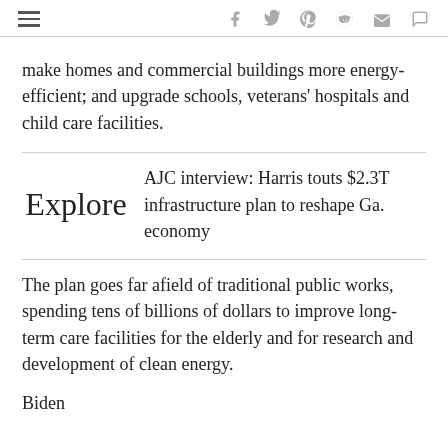≡  f  𝕡  p  reddit  ✉  💬
make homes and commercial buildings more energy-efficient; and upgrade schools, veterans' hospitals and child care facilities.
Explore  AJC interview: Harris touts $2.3T infrastructure plan to reshape Ga. economy
The plan goes far afield of traditional public works, spending tens of billions of dollars to improve long-term care facilities for the elderly and for research and development of clean energy.
Biden ...